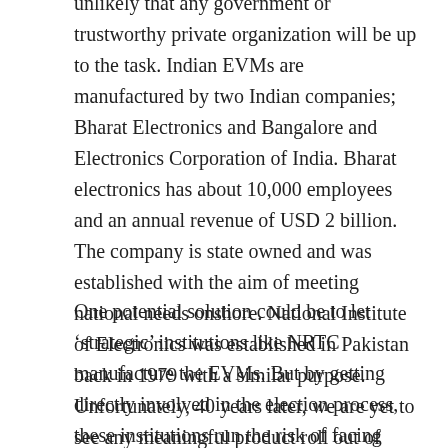unlikely that any government or trustworthy private organization will be up to the task. Indian EVMs are manufactured by two Indian companies; Bharat Electronics and Bangalore and Electronics Corporation of India. Bharat electronics has about 10,000 employees and an annual revenue of USD 2 billion. The company is state owned and was established with the aim of meeting national needs onshore. National Institute of Electronics was established in Pakistan back in 1979 with a similar purpose. Unfortunately, 40 years later, we are yet to see any meaningful product roll out of their facilities.
One potential solution could be to let ‘strategic’ institutions like NRTC manufacture the EVMs. But by getting directly involved in the election process, these institutions run the risk of facing serious allegations of election engineering and results manufacturing. The 2018